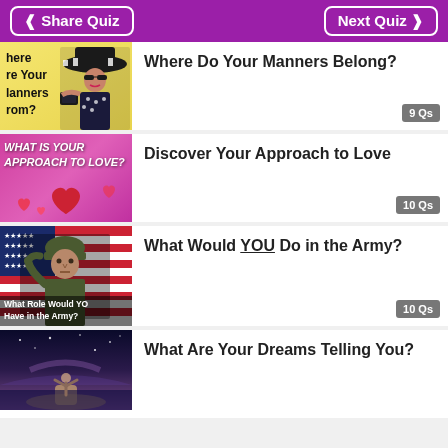Share Quiz | Next Quiz
Where Do Your Manners Belong? — 9 Qs
Discover Your Approach to Love — 10 Qs
What Would YOU Do in the Army? — 10 Qs
What Are Your Dreams Telling You?